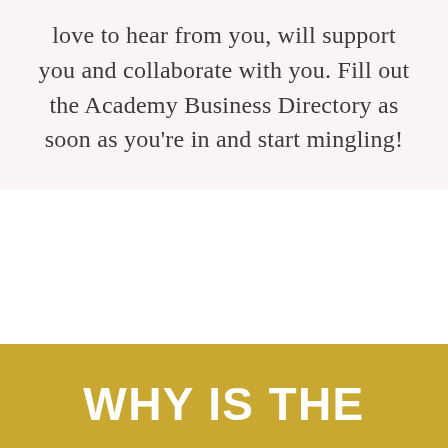love to hear from you, will support you and collaborate with you. Fill out the Academy Business Directory as soon as you're in and start mingling!
WHY IS THE